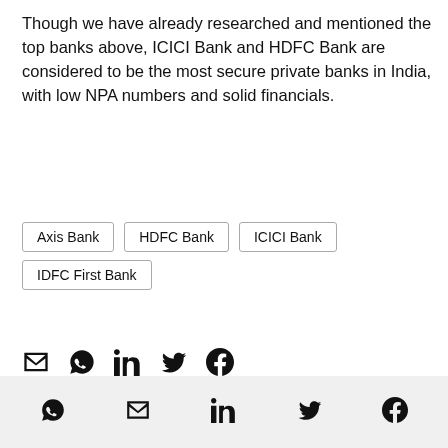Though we have already researched and mentioned the top banks above, ICICI Bank and HDFC Bank are considered to be the most secure private banks in India, with low NPA numbers and solid financials.
Axis Bank
HDFC Bank
ICICI Bank
IDFC First Bank
[Figure (other): Row of social share icons: email, WhatsApp, LinkedIn, Twitter/X, Facebook]
Social share icons: WhatsApp, Email, LinkedIn, Twitter, Facebook